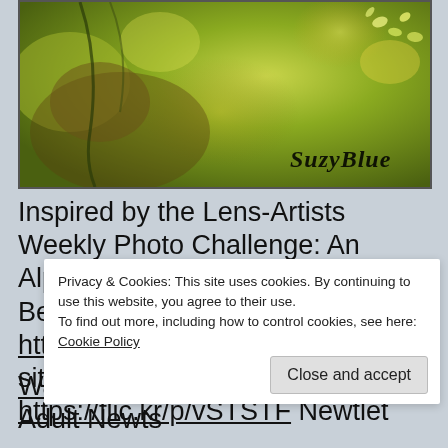[Figure (photo): Macro nature photograph with green bokeh background, showing leaves/plants with warm golden tones and a 'SuzyBlue' watermark signature in cursive in the lower right corner.]
Inspired by the Lens-Artists Weekly Photo Challenge: An Alphabet Challenge–Subjects That Begin with the Letter A. https://flic.kr/p/uWGaUa Tiny frog sitting on a Frogbit leaf https://flic.kr/p/vSTSTF Newtlet ... Warty toad https://flic.kr/p/GT1Eia Adult Newts
Privacy & Cookies: This site uses cookies. By continuing to use this website, you agree to their use. To find out more, including how to control cookies, see here: Cookie Policy
Close and accept